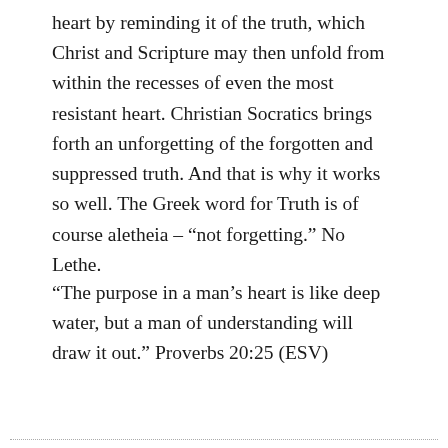heart by reminding it of the truth, which Christ and Scripture may then unfold from within the recesses of even the most resistant heart. Christian Socratics brings forth an unforgetting of the forgotten and suppressed truth. And that is why it works so well. The Greek word for Truth is of course aletheia – "not forgetting." No Lethe.
“The purpose in a man’s heart is like deep water, but a man of understanding will draw it out.” Proverbs 20:25 (ESV)